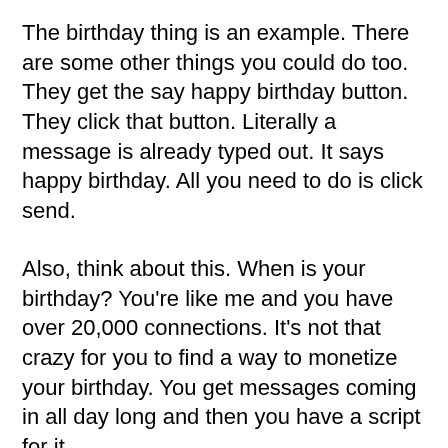The birthday thing is an example. There are some other things you could do too. They get the say happy birthday button. They click that button. Literally a message is already typed out. It says happy birthday. All you need to do is click send.
Also, think about this. When is your birthday? You're like me and you have over 20,000 connections. It's not that crazy for you to find a way to monetize your birthday. You get messages coming in all day long and then you have a script for it.
Basically, you have a conversation that is now starting. Another thing, when someone's job changes, you get a notification saying, “Congrats.” The button messages pop out and click send. When it's someone's job change or when someone changes something, which triggered...